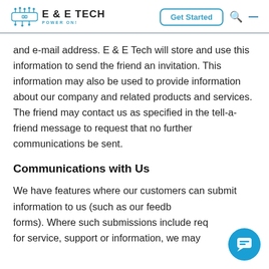E & E Tech – Get Started
and e-mail address. E & E Tech will store and use this information to send the friend an invitation. This information may also be used to provide information about our company and related products and services. The friend may contact us as specified in the tell-a-friend message to request that no further communications be sent.
Communications with Us
We have features where our customers can submit information to us (such as our feedback forms). Where such submissions include requests for service, support or information, we may